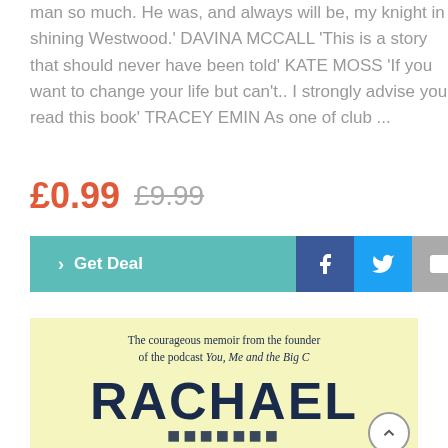man so much. He was, and always will be, my knight in shining Westwood.' DAVINA MCCALL 'This is a story that should never have been told' KATE MOSS 'If you want to change your life but can't.. I strongly advise you read this book' TRACEY EMIN As one of club ...
£0.99  £9.99
[Figure (other): Action buttons: Get Deal (teal), Facebook (dark blue), Twitter (blue), Email (grey)]
[Figure (photo): Book cover with light yellow background. Text: 'The courageous memoir from the founder of the podcast You, Me and the Big C'. Large title text 'RACHAEL' and partial second line below.]